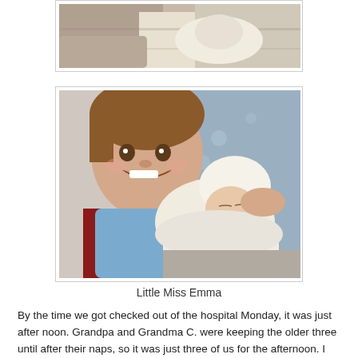[Figure (photo): Partial top photo of a person holding a newborn baby, cropped at top of page]
[Figure (photo): A smiling toddler wearing a blue gingham bib holding a sleeping newborn baby wrapped in white, with an adult in a floral hospital gown in the background]
Little Miss Emma
By the time we got checked out of the hospital Monday, it was just after noon. Grandpa and Grandma C. were keeping the older three until after their naps, so it was just three of us for the afternoon. I was still on an adrenaline high and kept tidying up bits and pieces of the house. I think I finally unwound enough to take a nap, but it wasn't very long in the end. Grandma C. brought supper when they dropped the